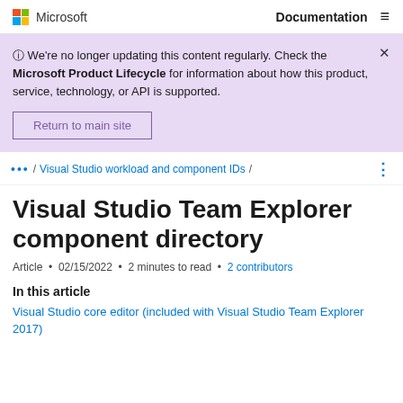Microsoft | Documentation
ⓘ We're no longer updating this content regularly. Check the Microsoft Product Lifecycle for information about how this product, service, technology, or API is supported.
Return to main site
... / Visual Studio workload and component IDs /
Visual Studio Team Explorer component directory
Article • 02/15/2022 • 2 minutes to read • 2 contributors
In this article
Visual Studio core editor (included with Visual Studio Team Explorer 2017)